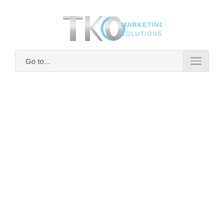[Figure (logo): TKO Marketing Solutions logo with metallic TKO letters and blue arc, followed by 'MARKETING SOLUTIONS' text in light blue]
Go to...